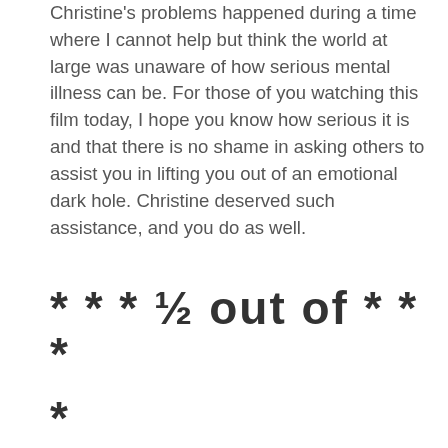Christine's problems happened during a time where I cannot help but think the world at large was unaware of how serious mental illness can be. For those of you watching this film today, I hope you know how serious it is and that there is no shame in asking others to assist you in lifting you out of an emotional dark hole. Christine deserved such assistance, and you do as well.
* * * ½ out of * * * *